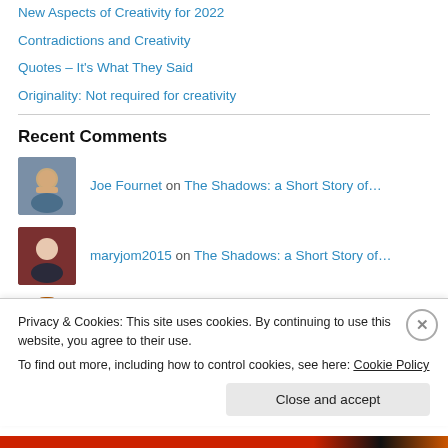New Aspects of Creativity for 2022
Contradictions and Creativity
Quotes – It's What They Said
Originality: Not required for creativity
Recent Comments
Joe Fournet on The Shadows: a Short Story of…
maryjom2015 on The Shadows: a Short Story of…
I hear u on Creative Tidbits and Other Adv…
Privacy & Cookies: This site uses cookies. By continuing to use this website, you agree to their use.
To find out more, including how to control cookies, see here: Cookie Policy